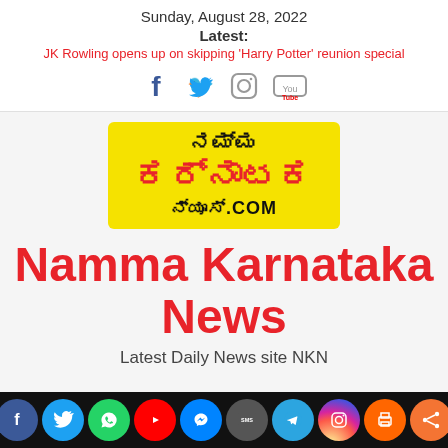Sunday, August 28, 2022
Latest:
JK Rowling opens up on skipping 'Harry Potter' reunion special
[Figure (logo): Social media icons: Facebook, Twitter, Instagram, YouTube]
[Figure (logo): Namma Karnataka News logo - yellow background with Kannada script text and ನ್ಯೂಸ್.COM]
Namma Karnataka News
Latest Daily News site NKN
[Figure (logo): Bottom social media bar with Facebook, Twitter, WhatsApp, YouTube, Messenger, SMS, Telegram, Instagram, Print, Share icons on dark background]